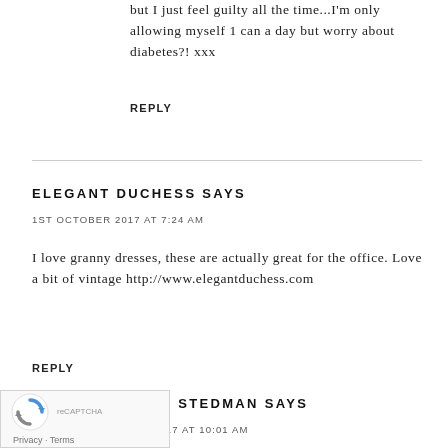but I just feel guilty all the time...I'm only allowing myself 1 can a day but worry about diabetes?! xxx
REPLY
ELEGANT DUCHESS SAYS
1ST OCTOBER 2017 AT 7:24 AM
I love granny dresses, these are actually great for the office. Love a bit of vintage http://www.elegantduchess.com
REPLY
ALEXANDRA STEDMAN SAYS
1ST OCTOBER 2017 AT 10:01 AM
[Figure (other): Google reCAPTCHA widget with Privacy and Terms links]